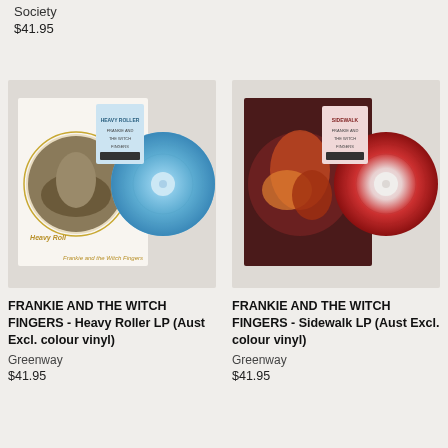Society
$41.95
[Figure (photo): Frankie and the Witch Fingers - Heavy Roller LP album cover with blue colour vinyl record partially visible]
FRANKIE AND THE WITCH FINGERS - Heavy Roller LP (Aust Excl. colour vinyl)
Greenway
$41.95
[Figure (photo): Frankie and the Witch Fingers - Sidewalk LP album cover with red and clear colour vinyl record partially visible]
FRANKIE AND THE WITCH FINGERS - Sidewalk LP (Aust Excl. colour vinyl)
Greenway
$41.95